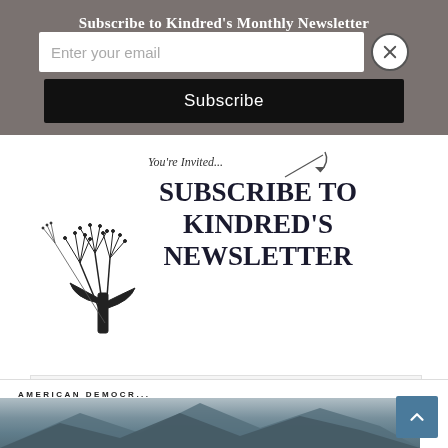Subscribe to Kindred's Monthly Newsletter
Enter your email
Subscribe
You're Invited...
SUBSCRIBE TO KINDRED'S NEWSLETTER
[Figure (illustration): Dandelion seeds illustration in black and white]
AMERICAN DEMOCR...
[Figure (photo): Landscape/nature photo at bottom of page]